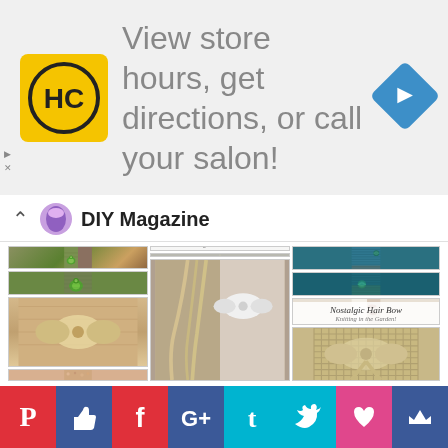[Figure (screenshot): Advertisement banner with HC logo and text: View store hours, get directions, or call your salon! with navigation arrow icon]
View store hours, get directions, or call your salon!
DIY Magazine
[Figure (photo): Grid of DIY craft photos including knitted turtle toy, baby blanket, teal knitted blanket, hair accessories with bows. Social media share bar at bottom with Pinterest, Facebook, Google+, Tumblr, Twitter, heart, crown buttons.]